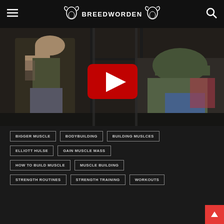BREEDWORDEN
[Figure (screenshot): YouTube video thumbnail showing two people in a gym. One person wearing a camouflage tank top with tattoos, another person in camouflage cap bent over. A red YouTube play button is centered on the image. The setting is a weight room with squat racks.]
BIGGER MUSCLE
BODYBUILDING
BUILDING MUSLCES
ELLIOTT HULSE
GAIN MUSCLE MASS
HOW TO BUILD MUSCLE
MUSCLE BUILDING
STRENGTH ROUTINES
STRENGTH TRAINING
WORKOUTS